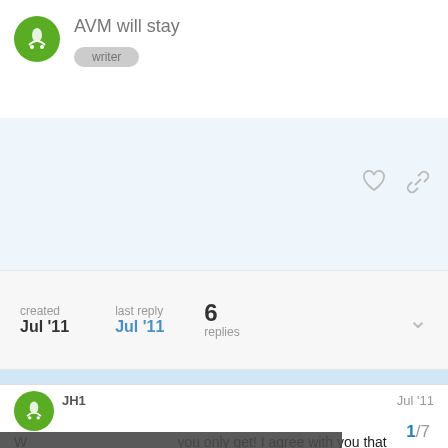AVM will stay
created Jul '11   last reply Jul '11   6 replies
JH1   Jul '11
This website uses cookies to ensure you get the best experience on our website. Learn more
With the fact that memory you only get! I agree with you that memory issues are NOT the same thing as being "dumb" One thing that sometimes helps people get in the right frame of mind is to always state the case in terms of what you DO, not in terms of what you CAN'T do... For example, saying "I need to write these things down to remember them" instead of "I have to write that down because I have a bad memory." I know th to only a few situations, but I hope it's so
1/7